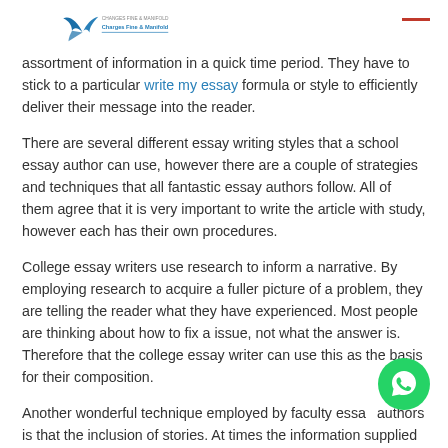Charges Fine & Manifold [logo]
assortment of information in a quick time period. They have to stick to a particular write my essay formula or style to efficiently deliver their message into the reader.
There are several different essay writing styles that a school essay author can use, however there are a couple of strategies and techniques that all fantastic essay authors follow. All of them agree that it is very important to write the article with study, however each has their own procedures.
College essay writers use research to inform a narrative. By employing research to acquire a fuller picture of a problem, they are telling the reader what they have experienced. Most people are thinking about how to fix a issue, not what the answer is. Therefore that the college essay writer can use this as the basis for their composition.
Another wonderful technique employed by faculty essay authors is that the inclusion of stories. At times the information supplied is so comprehensive that a reader cannot get their own notion from it. Using examples